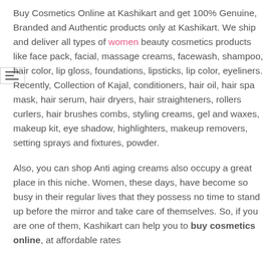Buy Cosmetics Online at Kashikart and get 100% Genuine, Branded and Authentic products only at Kashikart. We ship and deliver all types of women beauty cosmetics products like face pack, facial, massage creams, facewash, shampoo, hair color, lip gloss, foundations, lipsticks, lip color, eyeliners. Recently, Collection of Kajal, conditioners, hair oil, hair spa mask, hair serum, hair dryers, hair straighteners, rollers curlers, hair brushes combs, styling creams, gel and waxes, makeup kit, eye shadow, highlighters, makeup removers, setting sprays and fixtures, powder.
Also, you can shop Anti aging creams also occupy a great place in this niche. Women, these days, have become so busy in their regular lives that they possess no time to stand up before the mirror and take care of themselves. So, if you are one of them, Kashikart can help you to buy cosmetics online, at affordable rates